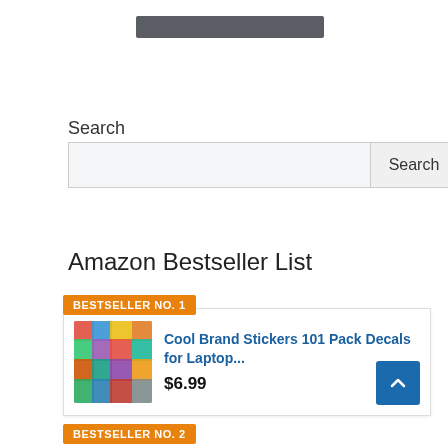Search
Search (input field and button)
Amazon Bestseller List
BESTSELLER NO. 1
Cool Brand Stickers 101 Pack Decals for Laptop... $6.99
BESTSELLER NO. 2